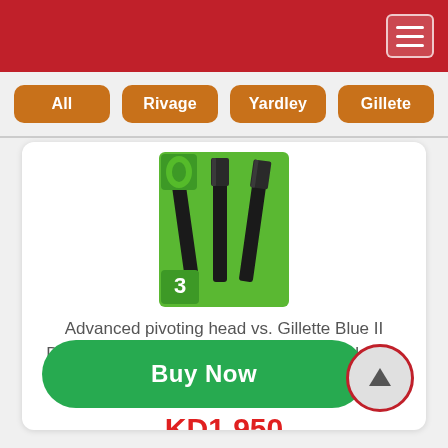Header bar with menu button
All
Rivage
Yardley
Gillete
[Figure (photo): Product image of Gillette disposable razors on green background]
Advanced pivoting head vs. Gillette Blue II Disposable Individually spring mounted blade...
KD1.950
Buy Now